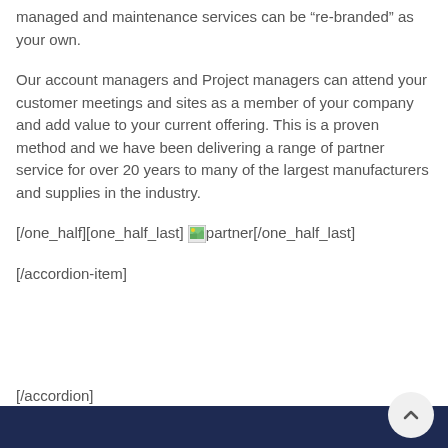managed and maintenance services can be “re-branded” as your own.
Our account managers and Project managers can attend your customer meetings and sites as a member of your company and add value to your current offering. This is a proven method and we have been delivering a range of partner service for over 20 years to many of the largest manufacturers and supplies in the industry.
[/one_half][one_half_last] [partner image] [/one_half_last]
[/accordion-item]
[/accordion]